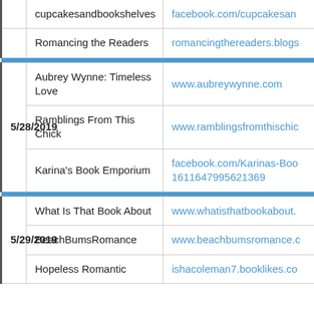| Date | Blog/Site Name | URL |
| --- | --- | --- |
|  | cupcakesandbookshelves | facebook.com/cupcakesan… |
|  | Romancing the Readers | romancingthereaders.blogs… |
| 5/28/2019 | Aubrey Wynne: Timeless Love | www.aubreywynne.com |
| 5/28/2019 | Ramblings From This Chick | www.ramblingsfromthischic… |
| 5/28/2019 | Karina's Book Emporium | facebook.com/Karinas-Boo… 1611647995621369 |
| 5/29/2019 | What Is That Book About | www.whatisthatbookabout.… |
| 5/29/2019 | BeachBumsRomance | www.beachbumsromance.c… |
| 5/29/2019 | Hopeless Romantic | ishacoleman7.booklikes.co… |